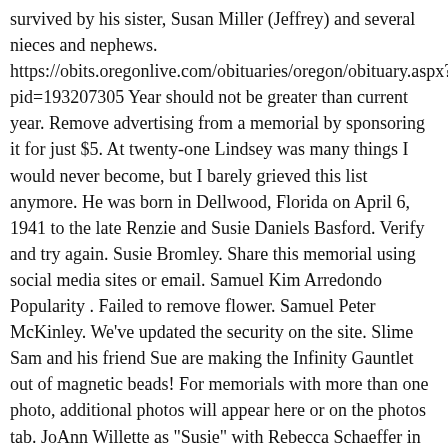survived by his sister, Susan Miller (Jeffrey) and several nieces and nephews. https://obits.oregonlive.com/obituaries/oregon/obituary.aspx?pid=193207305 Year should not be greater than current year. Remove advertising from a memorial by sponsoring it for just $5. At twenty-one Lindsey was many things I would never become, but I barely grieved this list anymore. He was born in Dellwood, Florida on April 6, 1941 to the late Renzie and Susie Daniels Basford. Verify and try again. Susie Bromley. Share this memorial using social media sites or email. Samuel Kim Arredondo Popularity . Failed to remove flower. Samuel Peter McKinley. We've updated the security on the site. Slime Sam and his friend Sue are making the Infinity Gauntlet out of magnetic beads! For memorials with more than one photo, additional photos will appear here or on the photos tab. JoAnn Willette as "Susie" with Rebecca Schaeffer in MY SISTER SAM, "If You Knew Susie" Susie was born on February 21, 1929, a daughter of the late Robert and Nannie Johnson Shelton.